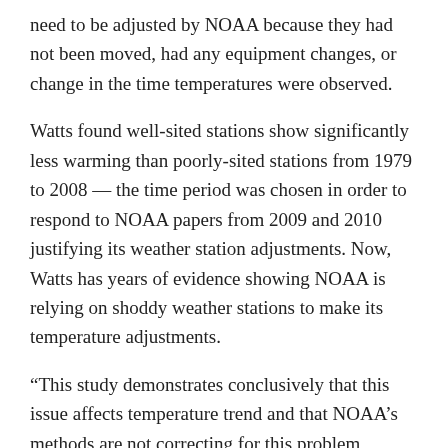need to be adjusted by NOAA because they had not been moved, had any equipment changes, or change in the time temperatures were observed.
Watts found well-sited stations show significantly less warming than poorly-sited stations from 1979 to 2008 — the time period was chosen in order to respond to NOAA papers from 2009 and 2010 justifying its weather station adjustments. Now, Watts has years of evidence showing NOAA is relying on shoddy weather stations to make its temperature adjustments.
“This study demonstrates conclusively that this issue affects temperature trend and that NOAA’s methods are not correcting for this problem, resulting in an inflated temperature trend. It suggests that the trend for U.S. temperature will need to be corrected.” Watts said.